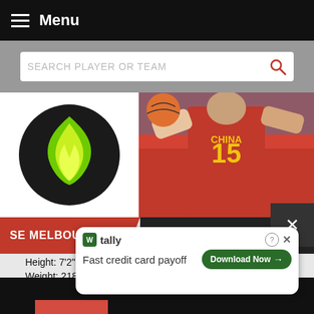Menu
SEARCH PLAYER OR TEAM
[Figure (logo): SE Melbourne Phoenix team logo — green flame/bird on dark circle]
[Figure (photo): Zhou Qi wearing China #15 red jersey playing basketball]
SE MELBOURNE   ZHOU QI C
Height: 7'2"
Weight: 218
[Figure (screenshot): Google+ social share button (red)]
[Figure (screenshot): Instagram social share button (purple)]
16 Points
11 Rebounds
0 Assists
42.2 PER
[Figure (screenshot): Tally app advertisement: Fast credit card payoff]